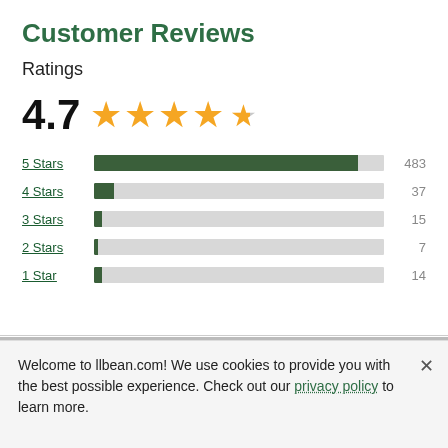Customer Reviews
Ratings
[Figure (bar-chart): Star Ratings]
Welcome to llbean.com! We use cookies to provide you with the best possible experience. Check out our privacy policy to learn more.